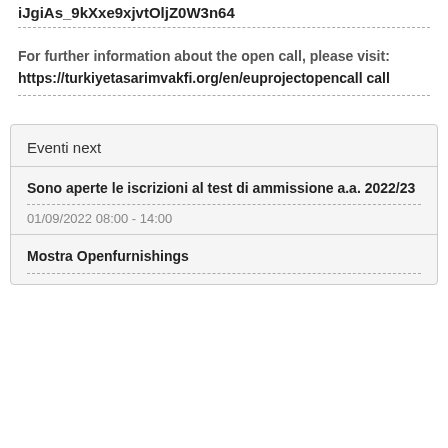iJgiAs_9kXxe9xjvtOljZ0W3n64
For further information about the open call, please visit:
https://turkiyetasarimvakfi.org/en/euprojectopencall call
Eventi next
Sono aperte le iscrizioni al test di ammissione a.a. 2022/23
01/09/2022 08:00 - 14:00
Mostra Openfurnishings